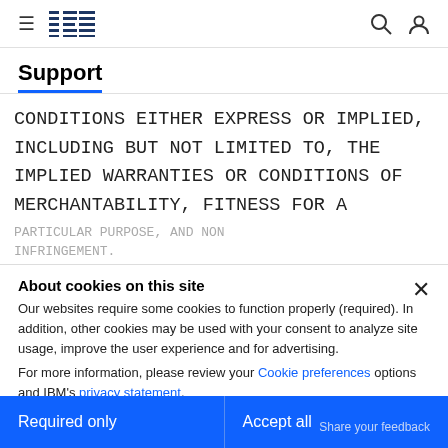IBM Support — navigation bar with hamburger menu, IBM logo, search icon, and user icon
Support
CONDITIONS EITHER EXPRESS OR IMPLIED, INCLUDING BUT NOT LIMITED TO, THE IMPLIED WARRANTIES OR CONDITIONS OF MERCHANTABILITY, FITNESS FOR A
PARTICULAR PURPOSE, AND NON INFRINGEMENT.
REGARDING THE IT:
The applicable license agreement may have been provided to you in printed form and/or may be viewed using the Work with Software Agreements (WRKSFWAGR)
About cookies on this site
Our websites require some cookies to function properly (required). In addition, other cookies may be used with your consent to analyze site usage, improve the user experience and for advertising.
For more information, please review your Cookie preferences options and IBM's privacy statement.
Required only
Accept all
Share your feedback